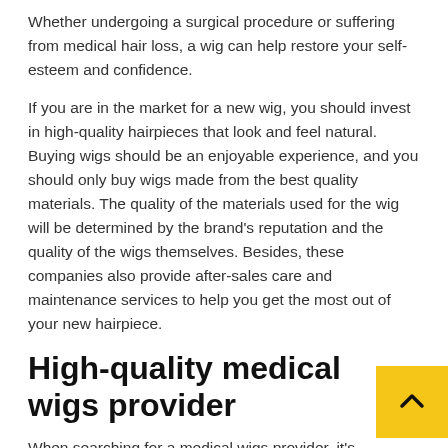Whether undergoing a surgical procedure or suffering from medical hair loss, a wig can help restore your self-esteem and confidence.
If you are in the market for a new wig, you should invest in high-quality hairpieces that look and feel natural. Buying wigs should be an enjoyable experience, and you should only buy wigs made from the best quality materials. The quality of the materials used for the wig will be determined by the brand's reputation and the quality of the wigs themselves. Besides, these companies also provide after-sales care and maintenance services to help you get the most out of your new hairpiece.
High-quality medical wigs provider
When searching for a medical wigs provider, it's esse… to consider quality. Quality materials are a must, and the wig cap should fit comfortably. Patients need maximum…